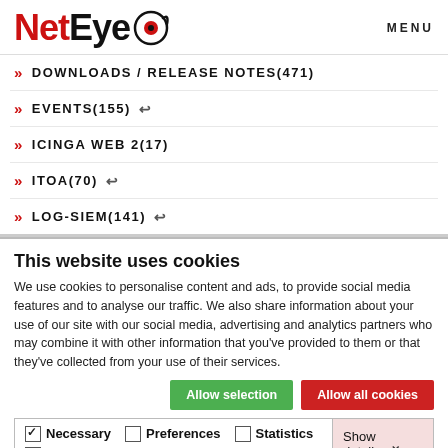[Figure (logo): NetEye logo with red text and eye icon]
MENU
» DOWNLOADS / RELEASE NOTES(471)
» EVENTS(155) ↩
» ICINGA WEB 2(17)
» ITOA(70) ↩
» LOG-SIEM(141) ↩
This website uses cookies
We use cookies to personalise content and ads, to provide social media features and to analyse our traffic. We also share information about your use of our site with our social media, advertising and analytics partners who may combine it with other information that you've provided to them or that they've collected from your use of their services.
Allow selection | Allow all cookies
Necessary  Preferences  Statistics  Marketing  Show details